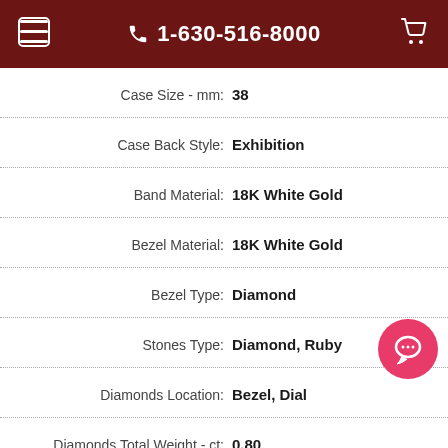1-630-516-8000
Case Size - mm: 38
Case Back Style: Exhibition
Band Material: 18K White Gold
Bezel Material: 18K White Gold
Bezel Type: Diamond
Stones Type: Diamond, Ruby
Diamonds Location: Bezel, Dial
Diamonds Total Weight - ct: 0.80